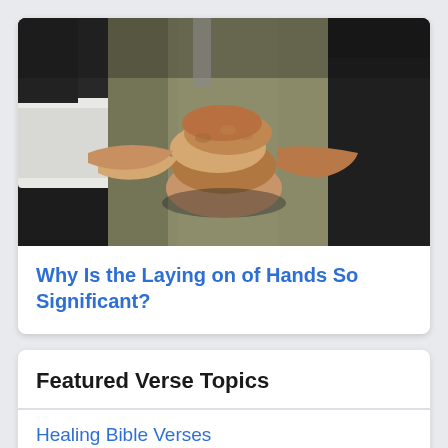[Figure (photo): Several people's hands clasped together in a stack, a gesture of unity or prayer, with people wearing dark suits and business attire]
Why Is the Laying on of Hands So Significant?
Featured Verse Topics
Healing Bible Verses